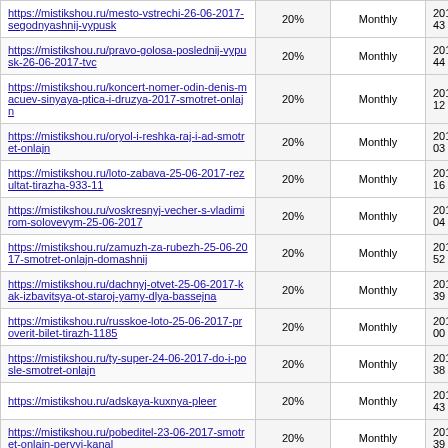| URL | Priority | Change Frequency | Last Modified |
| --- | --- | --- | --- |
| https://mistikshou.ru/mesto-vstrechi-26-06-2017-segodnyashnij-vypusk | 20% | Monthly | 2017-06-28 16:43 |
| https://mistikshou.ru/pravo-golosa-poslednij-vypusk-26-06-2017-tvc | 20% | Monthly | 2017-06-26 19:44 |
| https://mistikshou.ru/koncert-nomer-odin-denis-macuev-sinyaya-ptica-i-druzya-2017-smotret-onlajn | 20% | Monthly | 2017-06-25 18:12 |
| https://mistikshou.ru/oryol-i-reshka-raj-i-ad-smotret-onlajn | 20% | Monthly | 2018-09-04 21:03 |
| https://mistikshou.ru/loto-zabava-25-06-2017-rezultat-tirazha-933-11 | 20% | Monthly | 2017-06-24 22:16 |
| https://mistikshou.ru/voskresnyj-vecher-s-vladimirom-solovevym-25-06-2017 | 20% | Monthly | 2017-06-26 10:04 |
| https://mistikshou.ru/zamuzh-za-rubezh-25-06-2017-smotret-onlajn-domashnij | 20% | Monthly | 2017-06-26 07:52 |
| https://mistikshou.ru/dachnyj-otvet-25-06-2017-kak-izbavitsya-ot-staroj-yamy-dlya-bassejna | 20% | Monthly | 2017-06-25 12:39 |
| https://mistikshou.ru/russkoe-loto-25-06-2017-proverit-bilet-tirazh-1185 | 20% | Monthly | 2017-06-24 22:00 |
| https://mistikshou.ru/ty-super-24-06-2017-do-i-posle-smotret-onlajn | 20% | Monthly | 2017-06-24 20:38 |
| https://mistikshou.ru/adskaya-kuxnya-pleer | 20% | Monthly | 2018-11-01 08:43 |
| https://mistikshou.ru/pobeditel-23-06-2017-smotret-onlajn-pervyj-kanal | 20% | Monthly | 2017-06-24 19:39 |